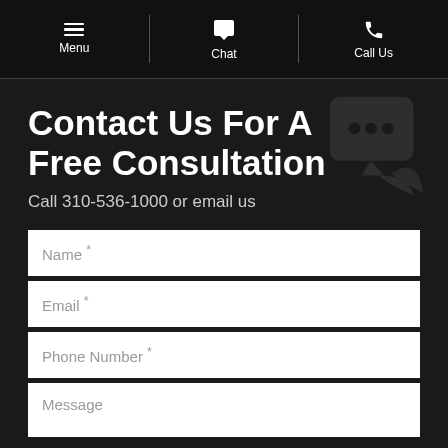Menu | Chat | Call Us
Contact Us For A Free Consultation
Call 310-536-1000 or email us
[Figure (illustration): Large decorative background icon showing a chat/phone bubble icon in dark gray]
Name *
Email *
Phone Number *
Message